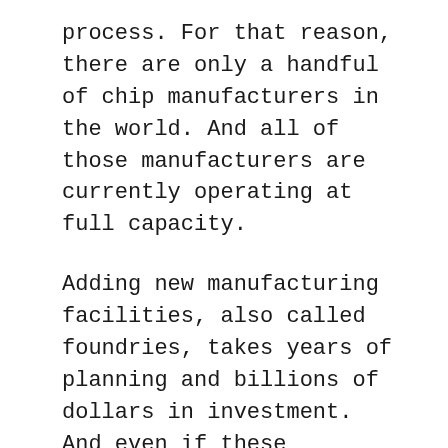process. For that reason, there are only a handful of chip manufacturers in the world. And all of those manufacturers are currently operating at full capacity.
Adding new manufacturing facilities, also called foundries, takes years of planning and billions of dollars in investment. And even if these foundries had the capacity to build new chips, the process of doing so takes time.
According to the Semiconductor Industry Association, it takes about 12 weeks to manufacture an average semiconductor. Advanced chips can take up to 20 weeks to build! Add in time to ramp up production and